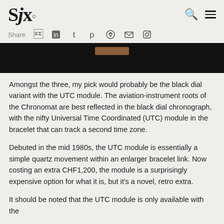SJx. [search icon] [menu icon]
Share [social icons: facebook, linkedin, twitter, pinterest, weibo, email, instagram]
[Figure (photo): Black image block with a small brown bar visible at top center, appears to be a partial watch/article image]
Amongst the three, my pick would probably be the black dial variant with the UTC module. The aviation-instrument roots of the Chronomat are best reflected in the black dial chronograph, with the nifty Universal Time Coordinated (UTC) module in the bracelet that can track a second time zone.
Debuted in the mid 1980s, the UTC module is essentially a simple quartz movement within an enlarger bracelet link. Now costing an extra CHF1,200, the module is a surprisingly expensive option for what it is, but it's a novel, retro extra.
It should be noted that the UTC module is only available with the